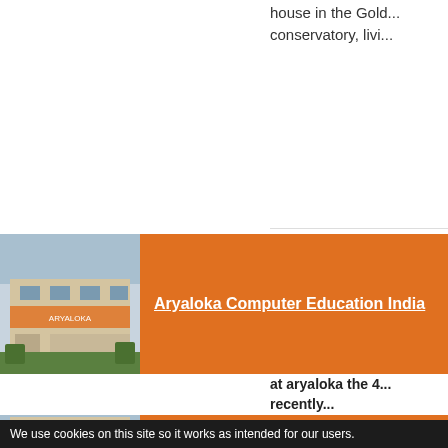house in the Gold... conservatory, livi...
[Figure (photo): Photo of Aryaloka Computer Education India building exterior with signage]
Aryaloka Computer Education India
at aryaloka the 4... recently...
By aryaketu on Su...
Recently in the m... from Maharashtra... women are stayin... to 8 pm. They stu... Dhammachari Sa...
[Figure (photo): Photo of Aryaloka Computer Education India building exterior (partial, bottom of page)]
Aryaloka Computer Education India
We use cookies on this site so it works as intended for our users.